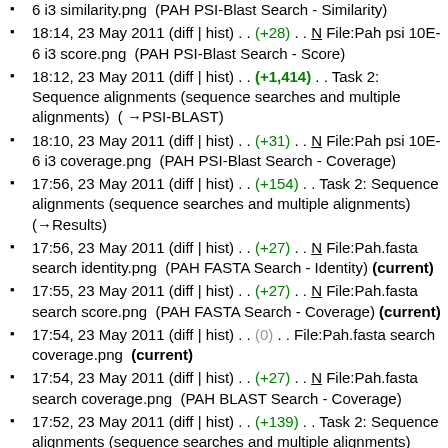6 i3 similarity.png  (PAH PSI-Blast Search - Similarity)
18:14, 23 May 2011 (diff | hist) . . (+28) . . N File:Pah psi 10E-6 i3 score.png  (PAH PSI-Blast Search - Score)
18:12, 23 May 2011 (diff | hist) . . (+1,414) . . Task 2: Sequence alignments (sequence searches and multiple alignments)  ( →PSI-BLAST)
18:10, 23 May 2011 (diff | hist) . . (+31) . . N File:Pah psi 10E-6 i3 coverage.png  (PAH PSI-Blast Search - Coverage)
17:56, 23 May 2011 (diff | hist) . . (+154) . . Task 2: Sequence alignments (sequence searches and multiple alignments)  (→Results)
17:56, 23 May 2011 (diff | hist) . . (+27) . . N File:Pah.fasta search identity.png  (PAH FASTA Search - Identity) (current)
17:55, 23 May 2011 (diff | hist) . . (+27) . . N File:Pah.fasta search score.png  (PAH FASTA Search - Coverage) (current)
17:54, 23 May 2011 (diff | hist) . . (0) . . File:Pah.fasta search coverage.png  (current)
17:54, 23 May 2011 (diff | hist) . . (+27) . . N File:Pah.fasta search coverage.png  (PAH BLAST Search - Coverage)
17:52, 23 May 2011 (diff | hist) . . (+139) . . Task 2: Sequence alignments (sequence searches and multiple alignments)  (→Results)
17:51, 23 May 2011 (diff | hist) . . (+27) . . N File:Pah.blast identity.png  (PAH BLAST Search - Identity) (current)
17:50, 23 May 2011 (diff | hist) . . (+24) . . N File:Pah.blast score.png  (PAH BLAST Search - Score) (current)